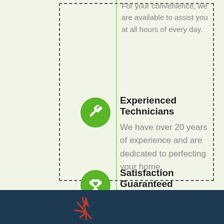For your convenience, we are available to assist you at all hours of every day.
Experienced Technicians
We have over 20 years of experience and are dedicated to perfecting your home.
Satisfaction Guaranteed
We strive to make you smile and pride ourselves in exceeding expectations.
[Figure (illustration): Red spark/flame logo at bottom of dark navy section]